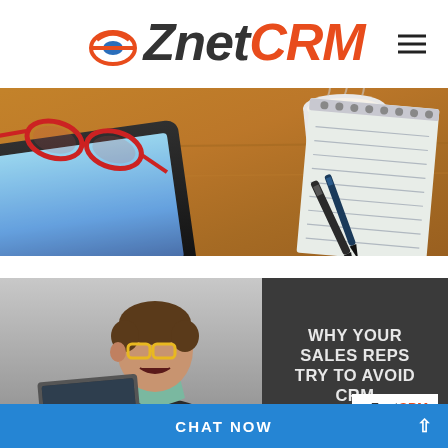[Figure (logo): eZnetCRM logo with orange e-icon, dark text 'Znet' and orange 'CRM']
[Figure (photo): Hero banner: desk scene with tablet, red glasses, coffee cup, notebook, and pens on a wooden surface]
[Figure (photo): Article card: frustrated businessman yelling at laptop with dark panel reading 'WHY YOUR SALES REPS TRY TO AVOID CRM' and eZnetCRM mini logo]
CHAT NOW